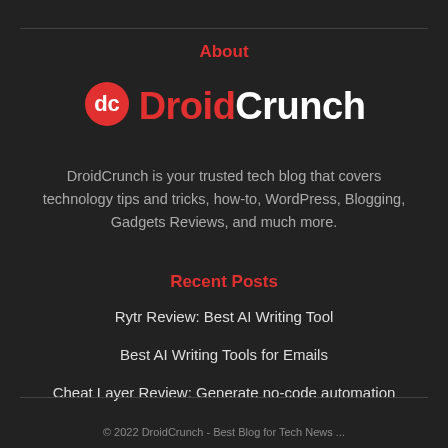About
[Figure (logo): DroidCrunch logo with red DC icon and white/red text]
DroidCrunch is your trusted tech blog that covers technology tips and tricks, how-to, WordPress, Blogging, Gadgets Reviews, and much more.
Recent Posts
Rytr Review: Best AI Writing Tool
Best AI Writing Tools for Emails
Cheat Layer Review: Generate no-code automation
© 2022 DroidCrunch - Best Blog for Tech News ...